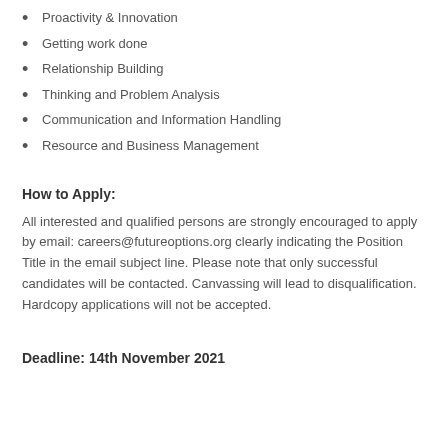Proactivity & Innovation
Getting work done
Relationship Building
Thinking and Problem Analysis
Communication and Information Handling
Resource and Business Management
How to Apply:
All interested and qualified persons are strongly encouraged to apply by email: careers@futureoptions.org clearly indicating the Position Title in the email subject line. Please note that only successful candidates will be contacted. Canvassing will lead to disqualification. Hardcopy applications will not be accepted.
Deadline: 14th November 2021